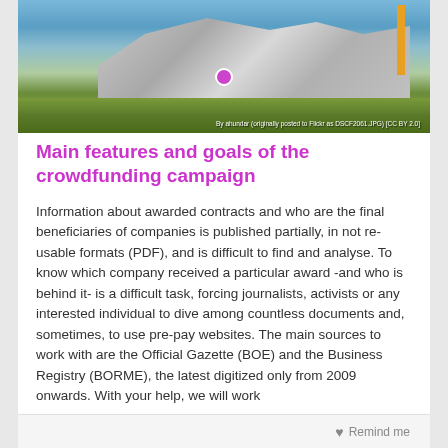[Figure (photo): Aerial or ground-level photo of a large modern building under construction with curved roofing structures, blue sky with clouds, green hillside, and a construction crane. A pink/purple dot marker is overlaid on the image. Attribution text reads: By ahundar (originally posted to Flickr as DSCF2061.JPG) [CC BY 2.0]]
Main features and goals of the crowdfunding campaign
Information about awarded contracts and who are the final beneficiaries of companies is published partially, in not re-usable formats (PDF), and is difficult to find and analyse. To know which company received a particular award -and who is behind it- is a difficult task, forcing journalists, activists or any interested individual to dive among countless documents and, sometimes, to use pre-pay websites. The main sources to work with are the Official Gazette (BOE) and the Business Registry (BORME), the latest digitized only from 2009 onwards. With your help, we will work
Remind me